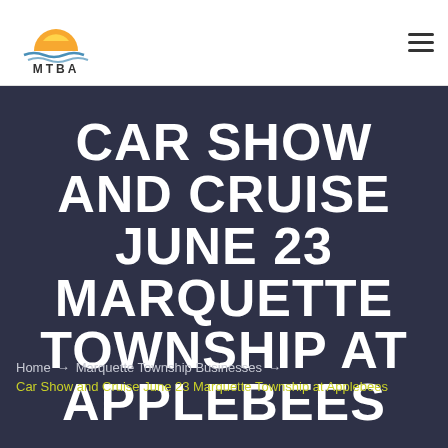[Figure (logo): MTBA logo with orange/yellow semicircle sun and blue wavy water lines above the text MTBA]
CAR SHOW AND CRUISE JUNE 23 MARQUETTE TOWNSHIP AT APPLEBEES
Home → Marquette Township Businesses → Car Show and Cruise June 23 Marquette Township at Applebees